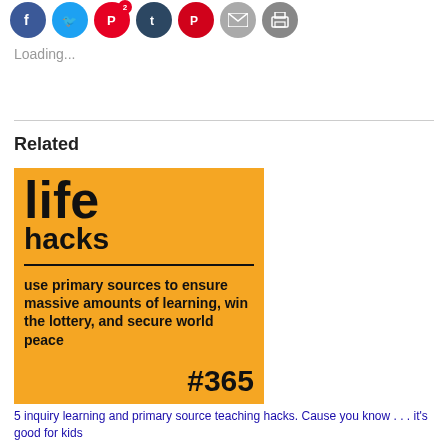[Figure (screenshot): Social media sharing icons: Facebook, Twitter, Pinterest (with badge 2), Tumblr, Pocket, email, print]
Loading...
Related
[Figure (infographic): Yellow/orange infographic card reading 'life hacks' with a horizontal divider and text: 'use primary sources to ensure massive amounts of learning, win the lottery, and secure world peace #365']
5 inquiry learning and primary source teaching hacks. Cause you know . . . it's good for kids